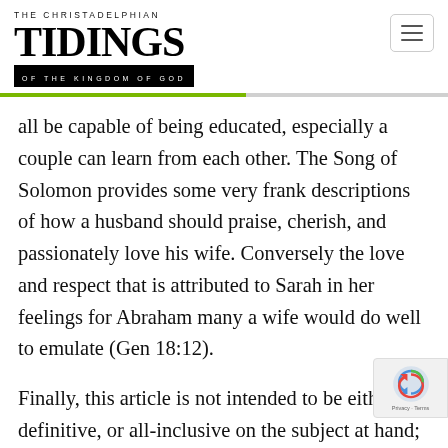THE CHRISTADELPHIAN TIDINGS OF THE KINGDOM OF GOD
all be capable of being educated, especially a couple can learn from each other. The Song of Solomon provides some very frank descriptions of how a husband should praise, cherish, and passionately love his wife. Conversely the love and respect that is attributed to Sarah in her feelings for Abraham many a wife would do well to emulate (Gen 18:12).
Finally, this article is not intended to be either definitive, or all-inclusive on the subject at hand; the amount of printed space availab the lack of comprehensive knowledge by the